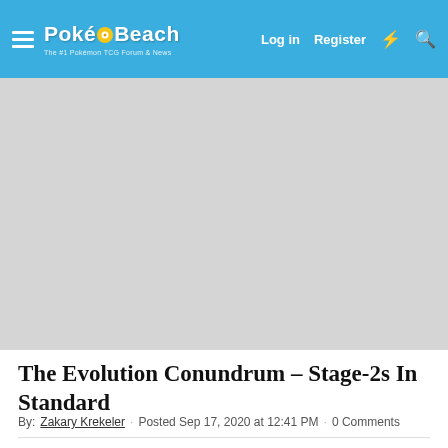PokéBeach — Log in  Register
[Figure (other): Gray advertisement banner placeholder]
The Evolution Conundrum – Stage-2s In Standard
By: Zakary Krekeler · Posted Sep 17, 2020 at 12:41 PM · 0 Comments